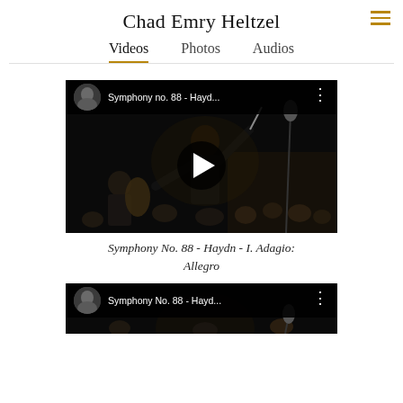Chad Emry Heltzel
Videos   Photos   Audios
[Figure (screenshot): YouTube video thumbnail showing a conductor leading an orchestra in a dark concert hall. Top bar shows channel avatar and title 'Symphony no. 88 - Hayd...' with a play button overlay in center.]
Symphony No. 88 - Haydn - I. Adagio: Allegro
[Figure (screenshot): Second YouTube video thumbnail (partially visible at bottom) with same channel avatar and title 'Symphony No. 88 - Hayd...']